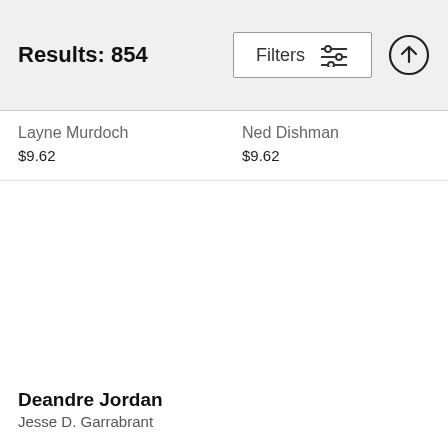Results: 854
Layne Murdoch
$9.62
Ned Dishman
$9.62
Deandre Jordan
Jesse D. Garrabrant